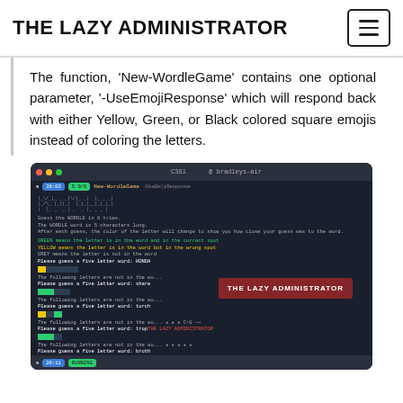THE LAZY ADMINISTRATOR
The function, ‘New-WordleGame’ contains one optional parameter, ‘-UseEmojiResponse’ which will respond back with either Yellow, Green, or Black colored square emojis instead of coloring the letters.
[Figure (screenshot): Terminal screenshot showing a PowerShell Wordle game in action, with colored letter blocks (yellow, green) indicating correct/incorrect guesses. The game prompts for five-letter words multiple times. A watermark overlay reads 'THE LAZY ADMINISTRATOR'.]